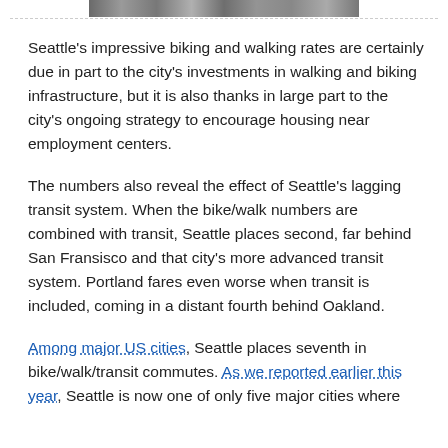[Figure (photo): Partial photo strip at the top of the page showing people biking/walking in a city scene]
Seattle's impressive biking and walking rates are certainly due in part to the city's investments in walking and biking infrastructure, but it is also thanks in large part to the city's ongoing strategy to encourage housing near employment centers.
The numbers also reveal the effect of Seattle's lagging transit system. When the bike/walk numbers are combined with transit, Seattle places second, far behind San Fransisco and that city's more advanced transit system. Portland fares even worse when transit is included, coming in a distant fourth behind Oakland.
Among major US cities, Seattle places seventh in bike/walk/transit commutes. As we reported earlier this year, Seattle is now one of only five major cities where